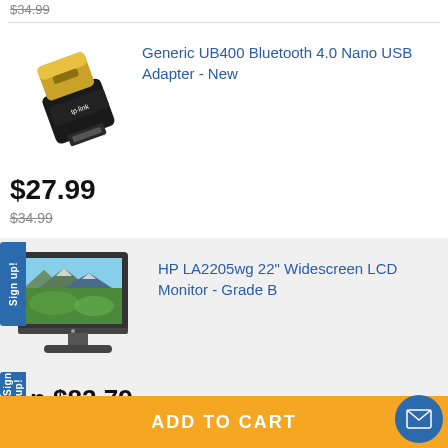$34.99 (strikethrough, partial, top)
[Figure (photo): TP-Link UB400 Bluetooth 4.0 Nano USB Adapter - small gold and black USB dongle with TP-Link branding]
Generic UB400 Bluetooth 4.0 Nano USB Adapter - New
$27.99
$34.99 (strikethrough)
[Figure (photo): HP LA2205wg 22 inch Widescreen LCD Monitor on stand, showing a landscape wallpaper]
HP LA2205wg 22" Widescreen LCD Monitor - Grade B
n $82.79
ADD TO CART